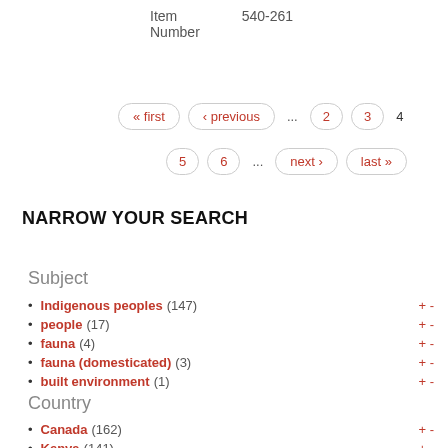Item Number   540-261
« first  ‹ previous  ...  2  3  4  5  6  ...  next ›  last »
NARROW YOUR SEARCH
Subject
Indigenous peoples (147)  + -
people (17)  + -
fauna (4)  + -
fauna (domesticated) (3)  + -
built environment (1)  + -
Country
Canada (162)  + -
Kenya (141)  + -